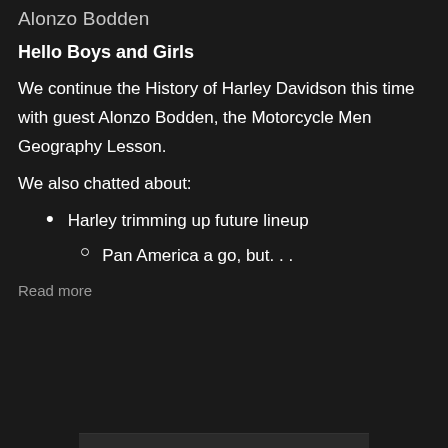Alonzo Bodden
Hello Boys and Girls
We continue the History of Harley Davidson this time with guest Alonzo Bodden, the Motorcycle Men Geography Lesson.
We also chatted about:
Harley trimming up future lineup
Pan America a go, but. . .
Read more